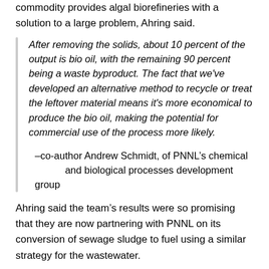commodity provides algal biorefineries with a solution to a large problem, Ahring said.
After removing the solids, about 10 percent of the output is bio oil, with the remaining 90 percent being a waste byproduct. The fact that we've developed an alternative method to recycle or treat the leftover material means it's more economical to produce the bio oil, making the potential for commercial use of the process more likely.
—co-author Andrew Schmidt, of PNNL's chemical and biological processes development group
Ahring said the team's results were so promising that they are now partnering with PNNL on its conversion of sewage sludge to fuel using a similar strategy for the wastewater.
Resources
Sebastian Fernandez, Keerthi Srinivas, Andrew J. Schmidt, Marie S. Swita, Birgitte K. Ahring (2017)